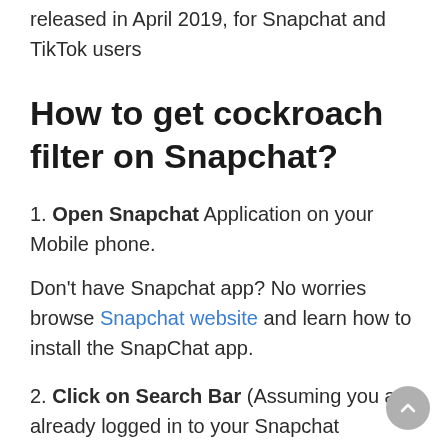released in April 2019, for Snapchat and TikTok users
How to get cockroach filter on Snapchat?
1. Open Snapchat Application on your Mobile phone.
Don't have Snapchat app? No worries browse Snapchat website and learn how to install the SnapChat app.
2. Click on Search Bar (Assuming you are already logged in to your Snapchat account.)